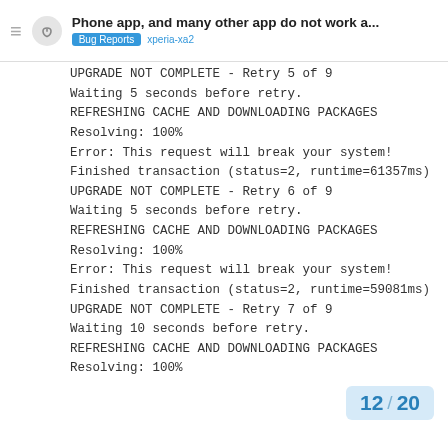Phone app, and many other app do not work a... | Bug Reports  xperia-xa2
UPGRADE NOT COMPLETE - Retry 5 of 9
Waiting 5 seconds before retry.
REFRESHING CACHE AND DOWNLOADING PACKAGES
Resolving: 100%
Error: This request will break your system!
Finished transaction (status=2, runtime=61357ms)
UPGRADE NOT COMPLETE - Retry 6 of 9
Waiting 5 seconds before retry.
REFRESHING CACHE AND DOWNLOADING PACKAGES
Resolving: 100%
Error: This request will break your system!
Finished transaction (status=2, runtime=59081ms)
UPGRADE NOT COMPLETE - Retry 7 of 9
Waiting 10 seconds before retry.
REFRESHING CACHE AND DOWNLOADING PACKAGES
Resolving: 100%
12 / 20